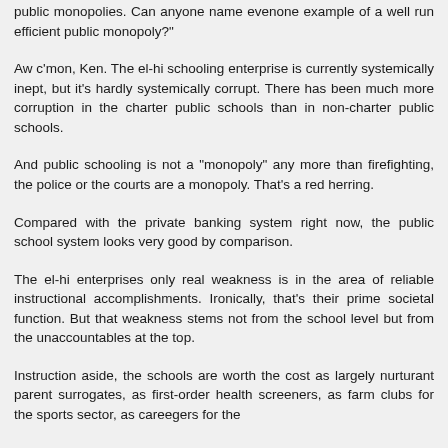public monopolies. Can anyone name evenone example of a well run efficient public monopoly?"
Aw c'mon, Ken. The el-hi schooling enterprise is currently systemically inept, but it's hardly systemically corrupt. There has been much more corruption in the charter public schools than in non-charter public schools.
And public schooling is not a "monopoly" any more than firefighting, the police or the courts are a monopoly. That's a red herring.
Compared with the private banking system right now, the public school system looks very good by comparison.
The el-hi enterprises only real weakness is in the area of reliable instructional accomplishments. Ironically, that's their prime societal function. But that weakness stems not from the school level but from the unaccountables at the top.
Instruction aside, the schools are worth the cost as largely nurturant parent surrogates, as first-order health screeners, as farm clubs for the sports sector, as careegers for the